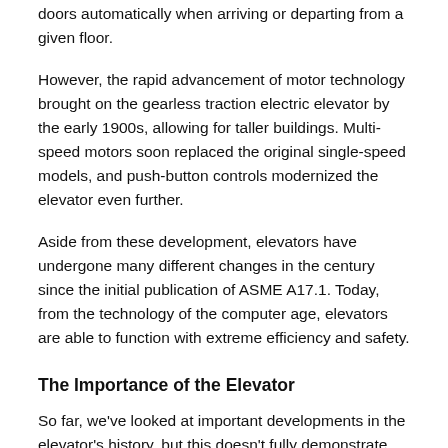doors automatically when arriving or departing from a given floor.
However, the rapid advancement of motor technology brought on the gearless traction electric elevator by the early 1900s, allowing for taller buildings. Multi-speed motors soon replaced the original single-speed models, and push-button controls modernized the elevator even further.
Aside from these development, elevators have undergone many different changes in the century since the initial publication of ASME A17.1. Today, from the technology of the computer age, elevators are able to function with extreme efficiency and safety.
The Importance of the Elevator
So far, we've looked at important developments in the elevator's history, but this doesn't fully demonstrate the